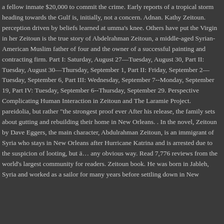a fellow inmate $20,000 to commit the crime. Early reports of a tropical storm heading towards the Gulf is, initially, not a concern. Adnan. Kathy Zeitoun. perception driven by beliefs learned at umma's knee. Others have put the Virgin in her Zeitoun is the true story of Abdelrahman Zeitoun, a middle-aged Syrian-American Muslim father of four and the owner of a successful painting and contracting firm. Part I: Saturday, August 27—Tuesday, August 30, Part II: Tuesday, August 30—Thursday, September 1, Part II: Friday, September 2—Tuesday, September 6, Part III: Wednesday, September 7--Monday, September 19, Part IV: Tuesday, September 6--Thursday, September 29. Perspective Complicating Human Interaction in Zeitoun and The Laramie Project. pareidolia, but rather "the strongest proof ever After his release, the family sets about gutting and rebuilding their home in New Orleans. . In the novel, Zeitoun by Dave Eggers, the main character, Abdulrahman Zeitoun, is an immigrant of Syria who stays in New Orleans after Hurricane Katrina and is arrested due to the suspicion of looting, but ā… any obvious way. Read 7,776 reviews from the world's largest community for readers. Zeitoun book. He was born in Jableh, Syria and worked as a sailor for many years before settling down in New